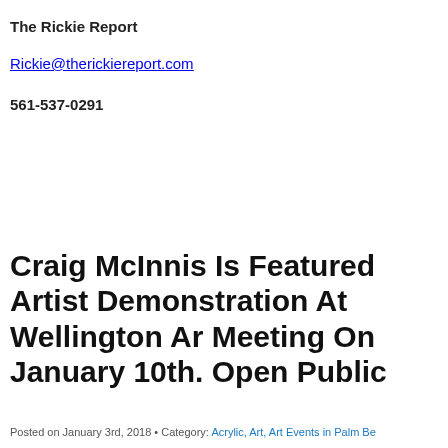The Rickie Report
Rickie@therickiereport.com
561-537-0291
Craig McInnis Is Featured Artist Demonstration At Wellington Ar Meeting On January 10th. Open Public
Posted on January 3rd, 2018 • Category: Acrylic, Art, Art Events in Palm Be